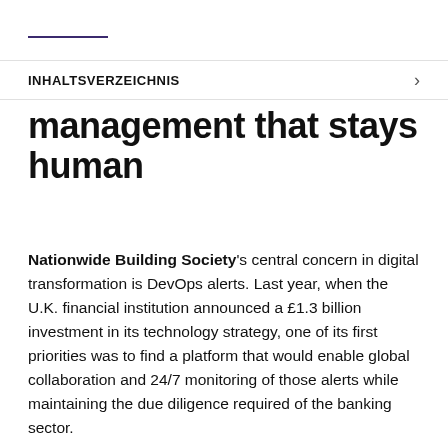INHALTSVERZEICHNIS
management that stays human
Nationwide Building Society's central concern in digital transformation is DevOps alerts. Last year, when the U.K. financial institution announced a £1.3 billion investment in its technology strategy, one of its first priorities was to find a platform that would enable global collaboration and 24/7 monitoring of those alerts while maintaining the due diligence required of the banking sector.
“We needed a tool that could support all of our